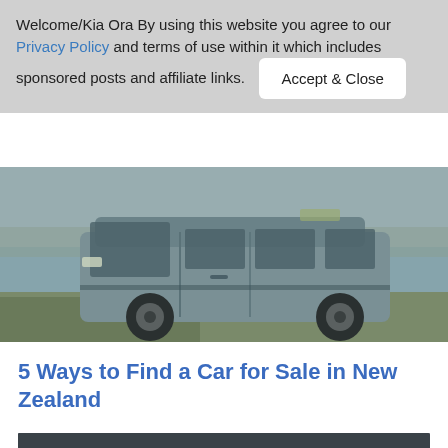Welcome/Kia Ora By using this website you agree to our Privacy Policy and terms of use within it which includes sponsored posts and affiliate links.  Accept & Close
[Figure (photo): A blue/grey minivan parked near a body of water with grass in the foreground]
5 Ways to Find a Car for Sale in New Zealand
[Figure (photo): A bulldog sitting in the window of a car, viewed from outside, blurred background]